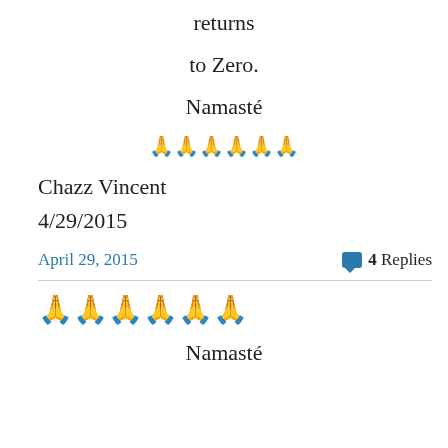returns
to Zero.
Namasté
🙏🙏🙏🙏🙏🙏
Chazz Vincent
4/29/2015
April 29, 2015
4 Replies
🙏🙏🙏🙏🙏🙏
Namasté